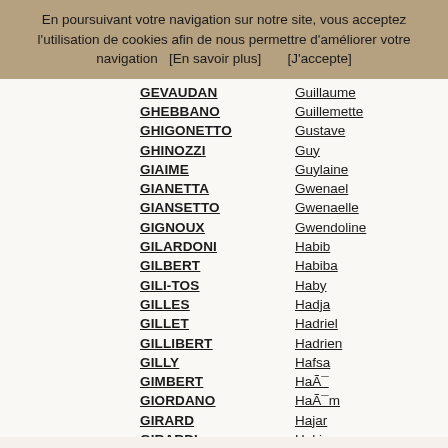En poursuivant votre navigation sur notre site, vous acceptez l'utilisation de cookies afin de nous permettre d'améliorer votre navigation   [En savoir plus]       [J'accepte]
GEVAUDAN
GHEBBANO
GHIGONETTO
GHINOZZI
GIAIME
GIANETTA
GIANSETTO
GIGNOUX
GILARDONI
GILBERT
GILI-TOS
GILLES
GILLET
GILLIBERT
GILLY
GIMBERT
GIORDANO
GIRARD
GIRARDI
GIRARDY
GIRAUD
GIRAUD-GUIGUES
Guillaume
Guillemette
Gustave
Guy
Guylaine
Gwenael
Gwenaelle
Gwendoline
Habib
Habiba
Haby
Hadja
Hadriel
Hadrien
Hafsa
Haïe
Haïm
Hajar
Hakim
Halima
Hamed
Hamid